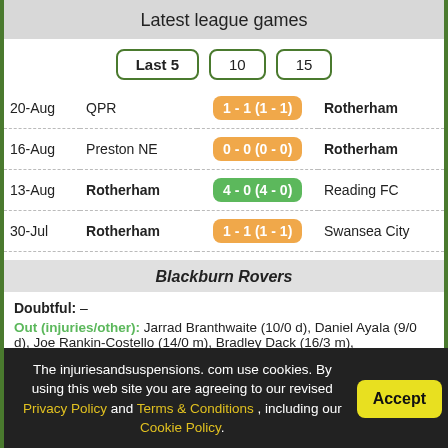Latest league games
Last 5 | 10 | 15
| Date | Home | Score | Away |
| --- | --- | --- | --- |
| 20-Aug | QPR | 1 - 1 (1 - 1) | Rotherham |
| 16-Aug | Preston NE | 0 - 0 (0 - 0) | Rotherham |
| 13-Aug | Rotherham | 4 - 0 (4 - 0) | Reading FC |
| 30-Jul | Rotherham | 1 - 1 (1 - 1) | Swansea City |
Blackburn Rovers
Doubtful: –
Out (injuries/other): Jarrad Branthwaite (10/0 d), Daniel Ayala (9/0 d), Joe Rankin-Costello (14/0 m), Bradley Dack (16/3 m),
The injuriesandsuspensions.com use cookies. By using this web site you are agreeing to our revised Privacy Policy and Terms & Conditions , including our Cookie Policy.